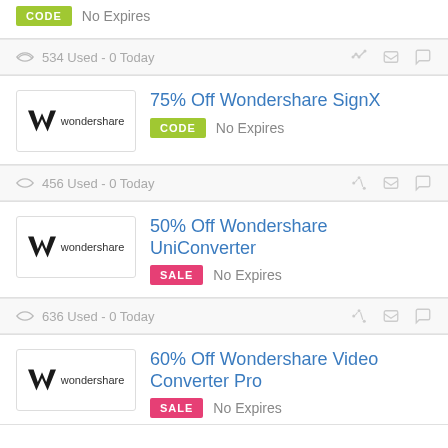CODE  No Expires
534 Used - 0 Today
75% Off Wondershare SignX
CODE  No Expires
456 Used - 0 Today
50% Off Wondershare UniConverter
SALE  No Expires
636 Used - 0 Today
60% Off Wondershare Video Converter Pro